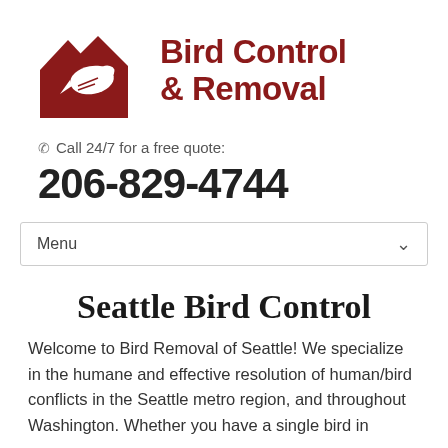[Figure (logo): Bird Control & Removal logo with red house/bird silhouette icon and bold red text reading 'Bird Control & Removal']
Call 24/7 for a free quote:
206-829-4744
Menu
Seattle Bird Control
Welcome to Bird Removal of Seattle! We specialize in the humane and effective resolution of human/bird conflicts in the Seattle metro region, and throughout Washington. Whether you have a single bird in